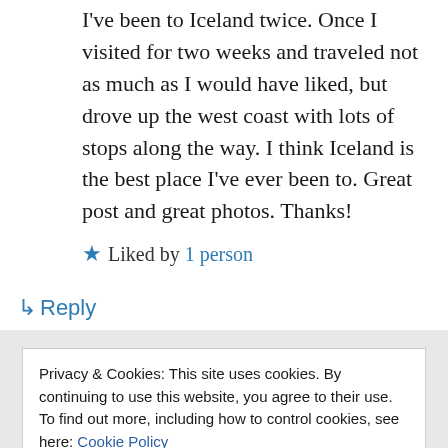I've been to Iceland twice. Once I visited for two weeks and traveled not as much as I would have liked, but drove up the west coast with lots of stops along the way. I think Iceland is the best place I've ever been to. Great post and great photos. Thanks!
Liked by 1 person
↳ Reply
Privacy & Cookies: This site uses cookies. By continuing to use this website, you agree to their use.
To find out more, including how to control cookies, see here: Cookie Policy
Close and accept